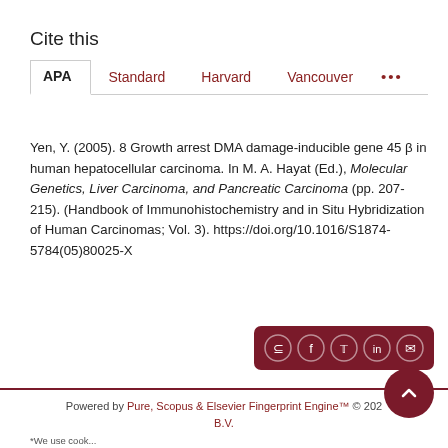Cite this
APA | Standard | Harvard | Vancouver | ...
Yen, Y. (2005). 8 Growth arrest DMA damage-inducible gene 45 β in human hepatocellular carcinoma. In M. A. Hayat (Ed.), Molecular Genetics, Liver Carcinoma, and Pancreatic Carcinoma (pp. 207-215). (Handbook of Immunohistochemistry and in Situ Hybridization of Human Carcinomas; Vol. 3). https://doi.org/10.1016/S1874-5784(05)80025-X
Powered by Pure, Scopus & Elsevier Fingerprint Engine™ © 202... B.V.